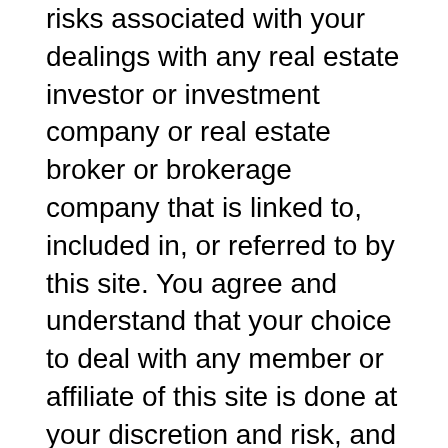risks associated with your dealings with any real estate investor or investment company or real estate broker or brokerage company that is linked to, included in, or referred to by this site. You agree and understand that your choice to deal with any member or affiliate of this site is done at your discretion and risk, and you will be solely responsible for such dealings. In no event shall www.webb-jay.com be liable for any direct, indirect, incidental, punitive or consequential damages of any kind whatsoever with respect to your dealings with investors, members or affiliates of this site.
On occasion, information on our site, such as home prices, may be outdated or otherwise